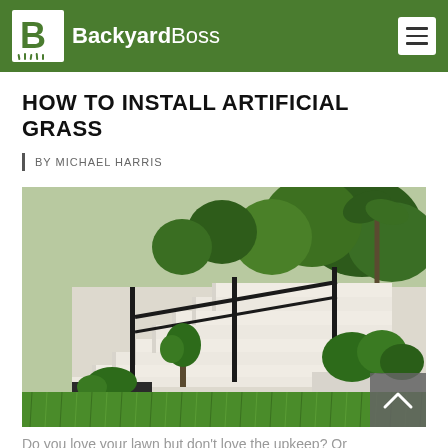BackyardBoss
HOW TO INSTALL ARTIFICIAL GRASS
BY MICHAEL HARRIS
[Figure (photo): Outdoor garden area with artificial green grass lawn in foreground, white modern staircase with black metal railing going up center, lush tropical plants and trees in background and planter boxes along white wall.]
Do you love your lawn but don't love the upkeep? Or